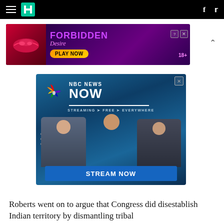HuffPost navigation bar with hamburger menu, logo, Facebook and Twitter icons
[Figure (photo): Forbidden Desire advertisement banner: adult gaming ad with pink/purple color scheme, lips graphic, text 'FORBIDDEN Desire PLAY NOW 18+']
[Figure (photo): NBC News Now advertisement: blue background with NBC peacock logo, text 'NBC NEWS NOW STREAMING FREE EVERYWHERE', three news anchors, 'STREAM NOW' button]
Roberts went on to argue that Congress did disestablish Indian territory by dismantling tribal